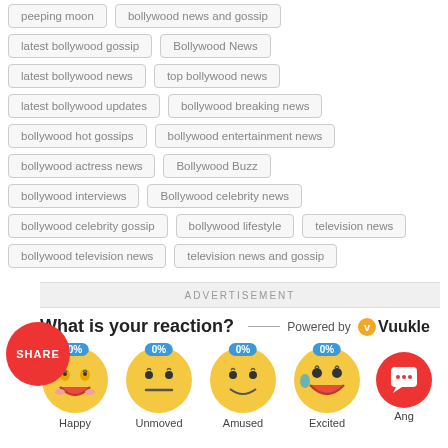peeping moon
bollywood news and gossip
latest bollywood gossip
Bollywood News
latest bollywood news
top bollywood news
latest bollywood updates
bollywood breaking news
bollywood hot gossips
bollywood entertainment news
bollywood actress news
Bollywood Buzz
bollywood interviews
Bollywood celebrity news
bollywood celebrity gossip
bollywood lifestyle
television news
bollywood television news
television news and gossip
ADVERTISEMENT
SHARE
What is your reaction?
Powered by Vuukle
[Figure (illustration): Four emoji reaction icons (Happy, Unmoved, Amused, Excited) each with 0% label badge, and a chat button icon]
Happy  Unmoved  Amused  Excited  Ang